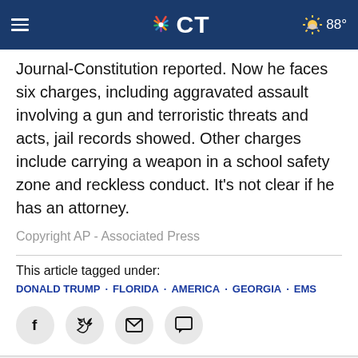NBC CT | 88°
Journal-Constitution reported. Now he faces six charges, including aggravated assault involving a gun and terroristic threats and acts, jail records showed. Other charges include carrying a weapon in a school safety zone and reckless conduct. It's not clear if he has an attorney.
Copyright AP - Associated Press
This article tagged under:
DONALD TRUMP · FLORIDA · AMERICA · GEORGIA · EMS
[Figure (other): Social sharing icons: Facebook, Twitter, Email, Comment buttons]